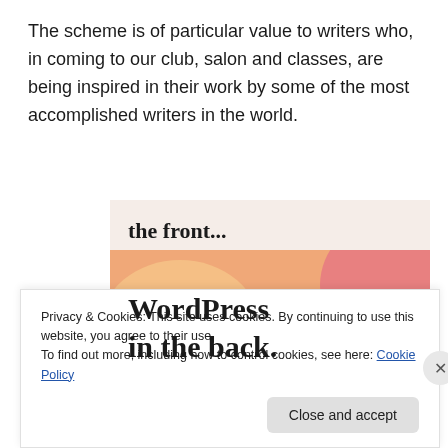The scheme is of particular value to writers who, in coming to our club, salon and classes, are being inspired in their work by some of the most accomplished writers in the world.
[Figure (illustration): Promotional image showing text 'the front...' on a light pink background strip, and below it a colorful orange/peach/pink gradient blob background with text 'WordPress in the back.' in bold serif font.]
Privacy & Cookies: This site uses cookies. By continuing to use this website, you agree to their use.
To find out more, including how to control cookies, see here: Cookie Policy